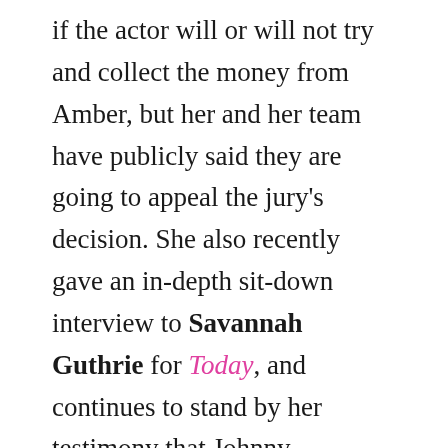if the actor will or will not try and collect the money from Amber, but her and her team have publicly said they are going to appeal the jury's decision. She also recently gave an in-depth sit-down interview to Savannah Guthrie for Today, and continues to stand by her testimony that Johnny allegedly physically abused her and revealed she doesn't blame the jury for their decision.